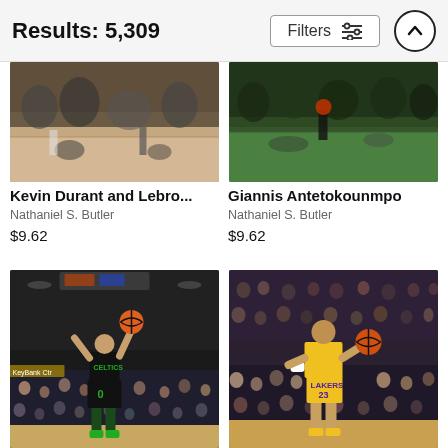Results: 5,309
[Figure (screenshot): Partial top image - basketball game sideline scene, Kevin Durant and LeBron]
[Figure (screenshot): Partial top image - basketball game, Giannis Antetokounmpo, green court]
Kevin Durant and Lebro...
Nathaniel S. Butler
$9.62
Giannis Antetokounmpo
Nathaniel S. Butler
$9.62
[Figure (photo): Celtics player #0 shooting a jump shot in a dark arena with crowd]
[Figure (photo): LeBron James in Lakers #23 yellow jersey dribbling with crowd behind]